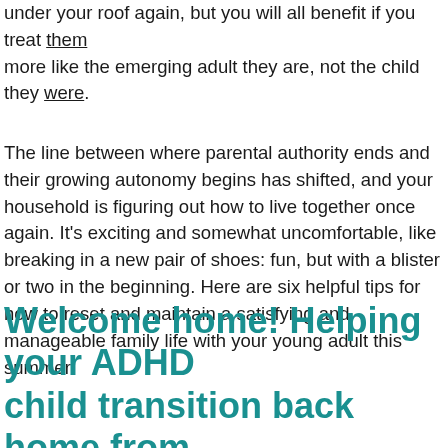under your roof again, but you will all benefit if you treat them more like the emerging adult they are, not the child they were.
The line between where parental authority ends and their growing autonomy begins has shifted, and your household is figuring out how to live together once again. It's exciting and somewhat uncomfortable, like breaking in a new pair of shoes: fun, but with a blister or two in the beginning. Here are six helpful tips for how to reset and maintain a satisfying and manageable family life with your young adult this summer.
Welcome home! Helping your ADHD child transition back home from college